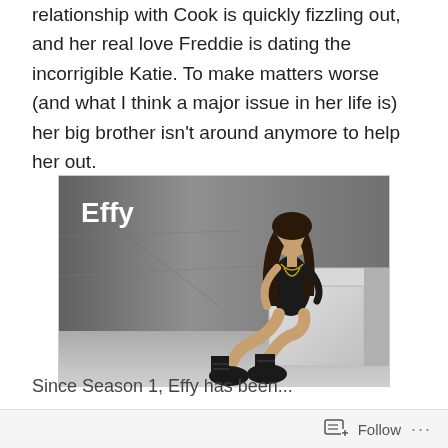relationship with Cook is quickly fizzling out, and her real love Freddie is dating the incorrigible Katie. To make matters worse (and what I think a major issue in her life is) her big brother isn’t around anymore to help her out.
[Figure (photo): Black and white promotional photo of a young woman (Effy) with long dark hair, sitting on a white cube/box, wearing dark clothing and black boots, against a textured grey wall background. The name 'Effy' appears in white bold text in the upper left.]
Since Season 1, Effy has been...
Follow